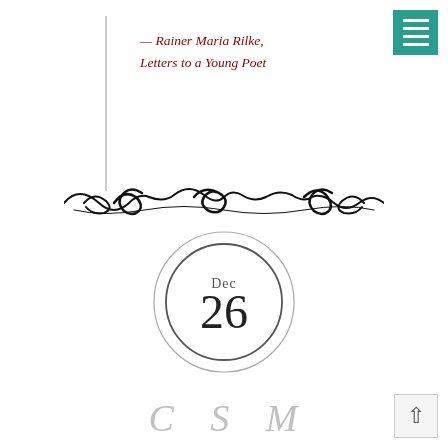— Rainer Maria Rilke, Letters to a Young Poet
[Figure (illustration): Decorative ornamental scroll divider in black ink]
[Figure (illustration): Circle date badge showing 'Dec 26' with double concentric ring border]
C...S...M...